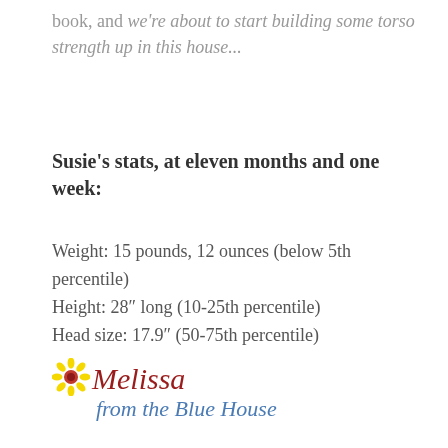book, and we're about to start building some torso strength up in this house...
Susie's stats, at eleven months and one week:
Weight: 15 pounds, 12 ounces (below 5th percentile)
Height: 28" long (10-25th percentile)
Head size: 17.9" (50-75th percentile)
[Figure (illustration): Signature graphic: sunflower icon followed by 'Melissa' in cursive red text, and below 'from the Blue House' in cursive blue text]